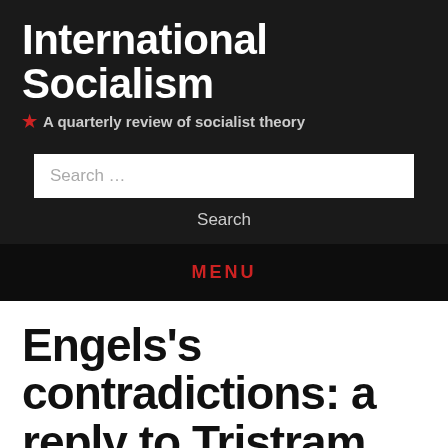International Socialism
★ A quarterly review of socialist theory
Search ...
Search
MENU
Engels's contradictions: a reply to Tristram